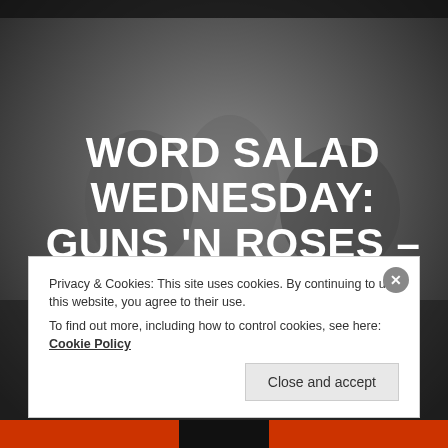[Figure (photo): Black and white photo of Guns N' Roses band members as dark background]
WORD SALAD WEDNESDAY: GUNS 'N ROSES – NIGHT TRAIN
Jeez, spoiled for choice with these guys, their entire lyrical output appears to have been produced by an epileptic twelve-year-old with Tourette's.  The music
Privacy & Cookies: This site uses cookies. By continuing to use this website, you agree to their use.
To find out more, including how to control cookies, see here: Cookie Policy
Close and accept